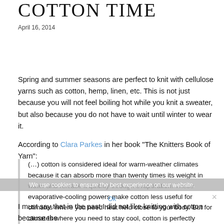COTTON TIME
April 16, 2014
Spring and summer seasons are perfect to knit with cellulose yarns such as cotton, hemp, linen, etc. This is not just because you will not feel boiling hot while you knit a sweater, but also because you do not have to wait until winter to wear it.
According to Clara Parkes in her book “The Knitters Book of Yarn”:
(…) cotton is considered ideal for warm-weather climates because it can absorb more than twenty times its weight in water and release it quickly through evaporation. These evaporative-cooling powers make cotton less useful for climates where you need heat held close to your body. But for climates where you need to stay cool, cotton is perfectly suited.
We use cookies to ensure the best experience on our website.
I must say that in the past I did not like knitting with cotton because the